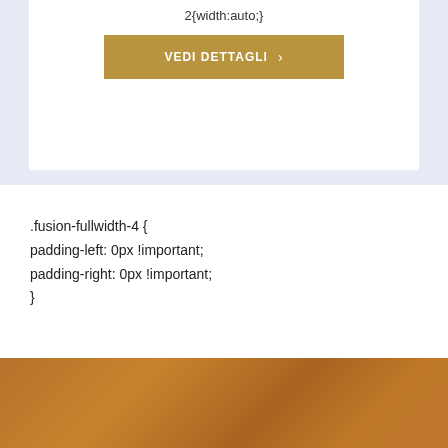2{width:auto;}
[Figure (screenshot): Gold/tan colored button labeled 'VEDI DETTAGLI' with a right arrow, inside a white card with light blue/lavender border background]
.fusion-fullwidth-4 {
padding-left: 0px !important;
padding-right: 0px !important;
}
[Figure (photo): Brown/tan textured surface or leather-like material filling the bottom strip of the page]